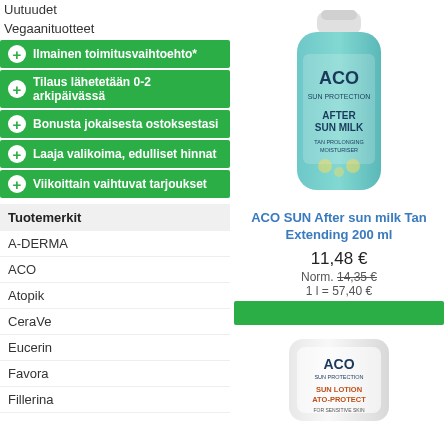Uutuudet
Vegaanituotteet
Ilmainen toimitusvaihtoehto*
Tilaus lähetetään 0-2 arkipäivässä
Bonusta jokaisesta ostoksestasi
Laaja valikoima, edulliset hinnat
Viikoittain vaihtuvat tarjoukset
Tuotemerkit
A-DERMA
ACO
Atopik
CeraVe
Eucerin
Favora
Fillerina
[Figure (photo): ACO SUN After sun milk Tan Extending 200ml product bottle, teal/turquoise color with white cap]
ACO SUN After sun milk Tan Extending 200 ml
11,48 €
Norm. 14,35 €
1 l = 57,40 €
[Figure (photo): ACO SUN LOTION ATO-PROTECT product tube, white color with orange text]